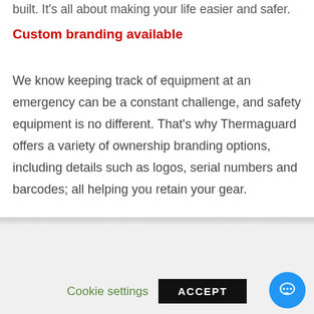built. It's all about making your life easier and safer.
Custom branding available
We know keeping track of equipment at an emergency can be a constant challenge, and safety equipment is no different. That's why Thermaguard offers a variety of ownership branding options, including details such as logos, serial numbers and barcodes; all helping you retain your gear.
This website uses cookies to improve your experience. We'll assume you're ok with this, but you can opt-out if you wish.
Cookie settings  ACCEPT